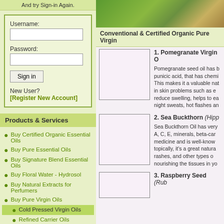And try Sign-in Again.
Username:
Password:
Sign in
New User?
[Register New Account]
Products & Services
Buy Certified Organic Essential Oils
Buy Pure Essential Oils
Buy Signature Blend Essential Oils
Buy Floral Water - Hydrosol
Buy Natural Extracts for Perfumers
Buy Pure Virgin Oils
Cold Pressed Virgin Oils
Refined Carrier Oils
Virgin Oils Blend
[Figure (photo): Photo of green plant leaves and fruit, likely argan or similar botanical]
Conventional & Certified Organic Pure Virgin
1. Pomegranate Virgin O
Pomegranate seed oil has b punicic acid, that has chemi This makes it a valuable nat in skin problems such as e reduce swelling, helps to ea night sweats, hot flashes an
2. Sea Buckthorn (Hipp
Sea Buckthorn Oil has very A, C, E, minerals, beta-car medicine and is well-know topically, it's a great natura rashes, and other types o nourishing the tissues in yo
3. Raspberry Seed (Rub